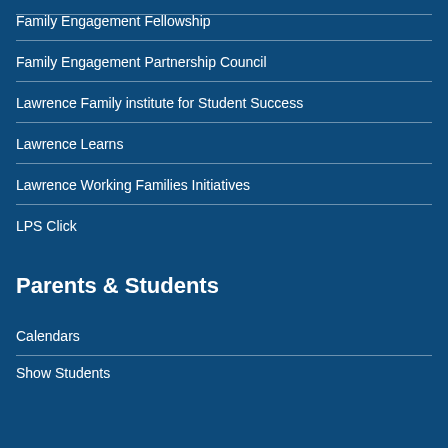Family Engagement Fellowship
Family Engagement Partnership Council
Lawrence Family institute for Student Success
Lawrence Learns
Lawrence Working Families Initiatives
LPS Click
Parents & Students
Calendars
Show Students